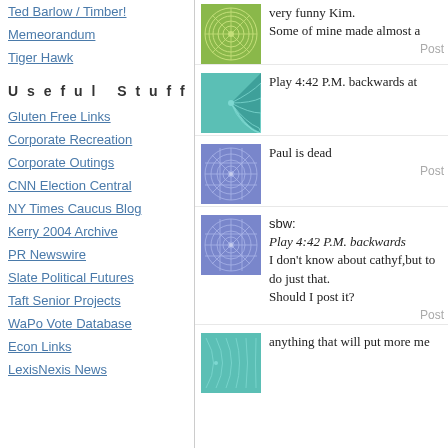Ted Barlow / Timber!
Memeorandum
Tiger Hawk
Useful Stuff
Gluten Free Links
Corporate Recreation
Corporate Outings
CNN Election Central
NY Times Caucus Blog
Kerry 2004 Archive
PR Newswire
Slate Political Futures
Taft Senior Projects
WaPo Vote Database
Econ Links
LexisNexis News
very funny Kim.
Some of mine made almost a
Play 4:42 P.M. backwards at
Paul is dead
sbw:
Play 4:42 P.M. backwards
I don't know about cathyf,but to do just that.
Should I post it?
anything that will put more me